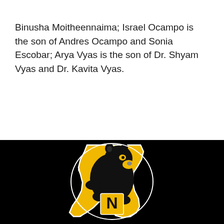Binusha Moitheennaima; Israel Ocampo is the son of Andres Ocampo and Sonia Escobar; Arya Vyas is the son of Dr. Shyam Vyas and Dr. Kavita Vyas.
[Figure (logo): School mascot logo: a black bear/panther over a gold Texas state outline shape with a gold letter N, white outline, on a black background.]